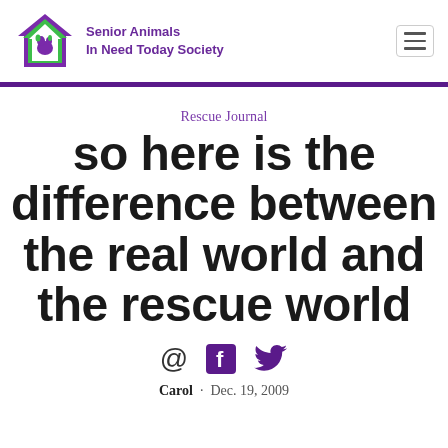Senior Animals In Need Today Society
Rescue Journal
so here is the difference between the real world and the rescue world
@ [Facebook] [Twitter]
Carol · Dec. 19, 2009